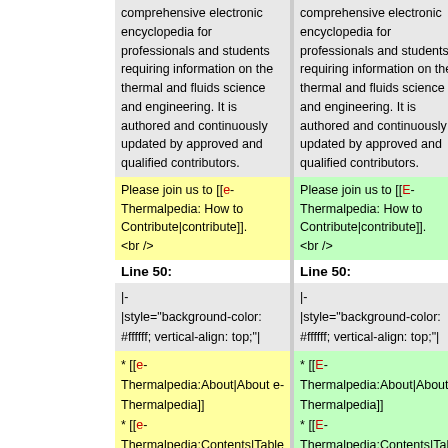| Left | Right |
| --- | --- |
| comprehensive electronic encyclopedia for professionals and students requiring information on the thermal and fluids science and engineering. It is authored and continuously updated by approved and qualified contributors. | comprehensive electronic encyclopedia for professionals and students requiring information on the thermal and fluids science and engineering. It is authored and continuously updated by approved and qualified contributors. |
| Please join us to [[e-Thermalpedia: How to Contribute|contribute]]. <br /> | Please join us to [[E-Thermalpedia: How to Contribute|contribute]]. <br /> |
| Line 50: | Line 50: |
| |- |style="background-color: #ffffff; vertical-align: top;"| * [[e-Thermalpedia:About|About e-Thermalpedia]] * [[e-Thermalpedia:Contents|Table of Contents]] | |- |style="background-color: #ffffff; vertical-align: top;"| * [[E-Thermalpedia:About|About e-Thermalpedia]] * [[E-Thermalpedia:Contents|Table of Contents]] |